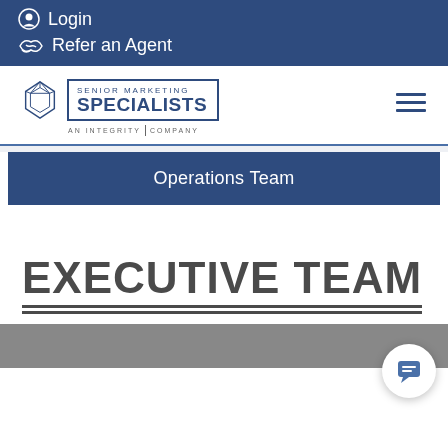Login
Refer an Agent
[Figure (logo): Senior Marketing Specialists - An Integrity Company logo with geometric gem icon]
Operations Team
EXECUTIVE TEAM
[Figure (photo): Partial view of a team photo strip at the bottom of the page]